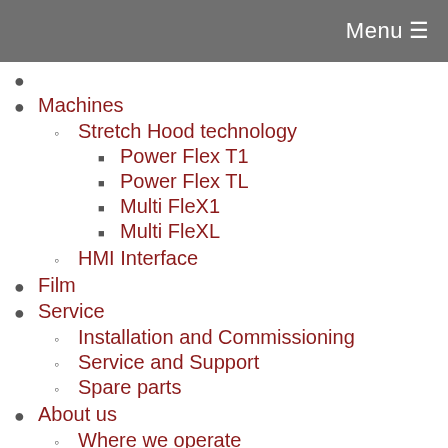Menu
Machines
Stretch Hood technology
Power Flex T1
Power Flex TL
Multi FleX1
Multi FleXL
HMI Interface
Film
Service
Installation and Commissioning
Service and Support
Spare parts
About us
Where we operate
How to find us
Why Lachenmeier
Career